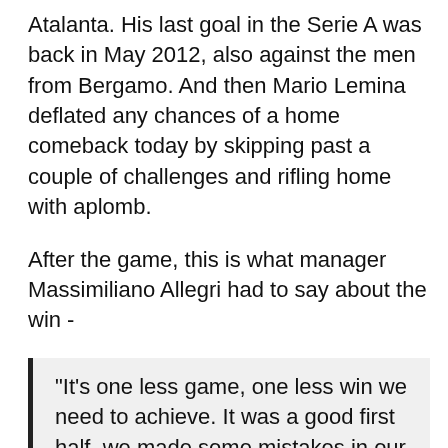Atalanta. His last goal in the Serie A was back in May 2012, also against the men from Bergamo. And then Mario Lemina deflated any chances of a home comeback today by skipping past a couple of challenges and rifling home with aplomb.
After the game, this is what manager Massimiliano Allegri had to say about the win -
"It's one less game, one less win we need to achieve. It was a good first half, we made some mistakes in our passing choices after the break and in the last half-hour should've done better.
"The approach to the game was good, we could've scored more than one early on and moved the ball around well. Once we stopped playing, they started